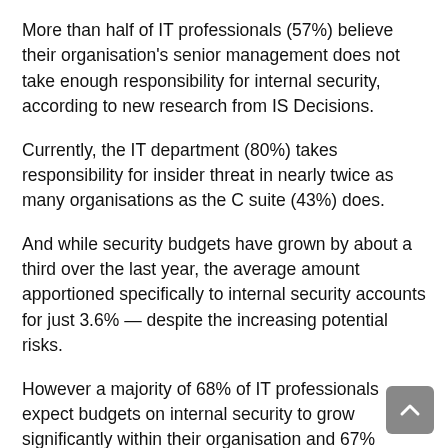More than half of IT professionals (57%) believe their organisation's senior management does not take enough responsibility for internal security, according to new research from IS Decisions.
Currently, the IT department (80%) takes responsibility for insider threat in nearly twice as many organisations as the C suite (43%) does.
And while security budgets have grown by about a third over the last year, the average amount apportioned specifically to internal security accounts for just 3.6% — despite the increasing potential risks.
However a majority of 68% of IT professionals expect budgets on internal security to grow significantly within their organisation and 67% stated they plan to look at specific tools, technology and data to help tackle insider threat, highlighting further the need for senior